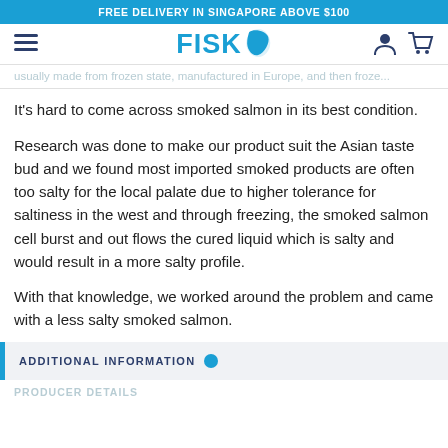FREE DELIVERY IN SINGAPORE ABOVE $100
FISK [logo with fish leaf icon]
usually made from frozen state, manufactured in Europe, and then frozen
It's hard to come across smoked salmon in its best condition.
Research was done to make our product suit the Asian taste bud and we found most imported smoked products are often too salty for the local palate due to higher tolerance for saltiness in the west and through freezing, the smoked salmon cell burst and out flows the cured liquid which is salty and would result in a more salty profile.
With that knowledge, we worked around the problem and came with a less salty smoked salmon.
ADDITIONAL INFORMATION
PRODUCER DETAILS